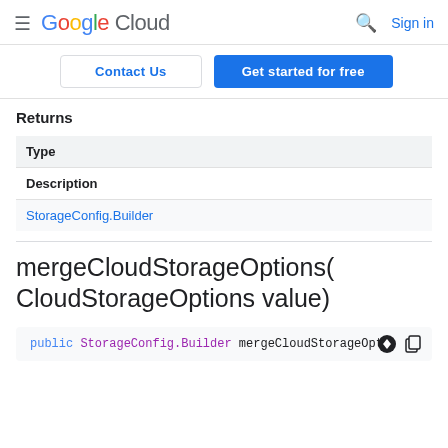Google Cloud  Sign in
Contact Us  Get started for free
Returns
| Type |
| --- |
| Description |
| StorageConfig.Builder |
mergeCloudStorageOptions(CloudStorageOptions value)
public StorageConfig.Builder mergeCloudStorageOpt